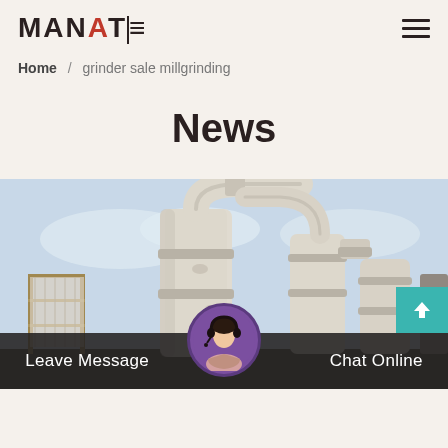MANATE (logo) with hamburger menu
Home / grinder sale millgrinding
News
[Figure (photo): Industrial grinding mill equipment — large white cylindrical towers with pipes and connectors against a light blue sky, with scaffolding visible on the left side.]
Leave Message | Chat Online (with customer service avatar)